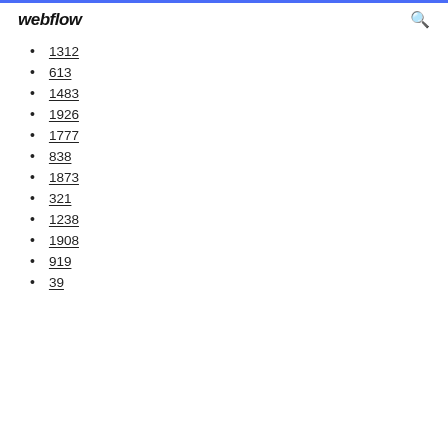webflow
1312
613
1483
1926
1777
838
1873
321
1238
1908
919
39